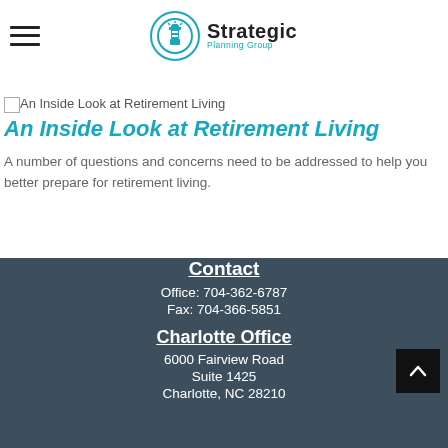[Figure (logo): Strategic Planning Group logo with lighthouse icon in teal circle]
[Figure (photo): An Inside Look at Retirement Living article image placeholder]
An Inside Look at Retirement Living
A number of questions and concerns need to be addressed to help you better prepare for retirement living.
Contact
Office: 704-362-6787
Fax: 704-366-5851
Charlotte Office
6000 Fairview Road
Suite 1425
Charlotte, NC 28210